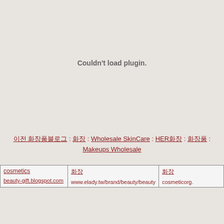Couldn't load plugin.
이전 화장품블로그 : 화장 : Wholesale SkinCare : HER화장 : 화장품 : Makeups Wholesale
| cosmetics

beauty-gift.blogspot.com | 화장

www.elady.tw/brand/beauty/beauty | 화장

cosmeticorg. |